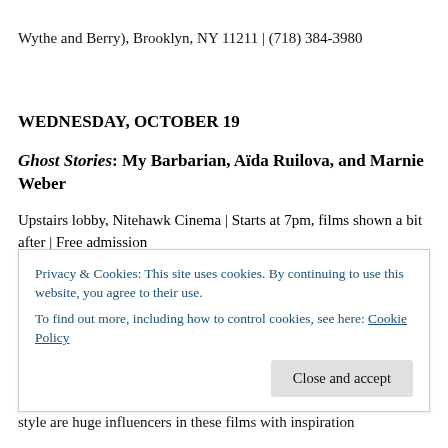Wythe and Berry), Brooklyn, NY 11211 | (718) 384-3980
WEDNESDAY, OCTOBER 19
Ghost Stories: My Barbarian, Aïda Ruilova, and Marnie Weber
Upstairs lobby, Nitehawk Cinema | Starts at 7pm, films shown a bit after | Free admission
Privacy & Cookies: This site uses cookies. By continuing to use this website, you agree to their use.
To find out more, including how to control cookies, see here: Cookie Policy
style are huge influencers in these films with inspiration